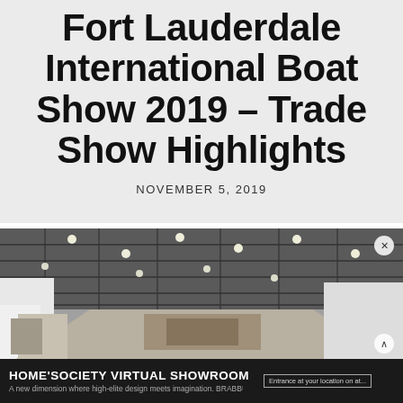Fort Lauderdale International Boat Show 2019 – Trade Show Highlights
NOVEMBER 5, 2019
[Figure (photo): Interior of a trade show hall with white booth walls, dark grid ceiling with recessed lights, and exhibit displays visible in the background. An advertisement banner overlays the bottom: HOME'SOCIETY VIRTUAL SHOWROOM with close and scroll buttons.]